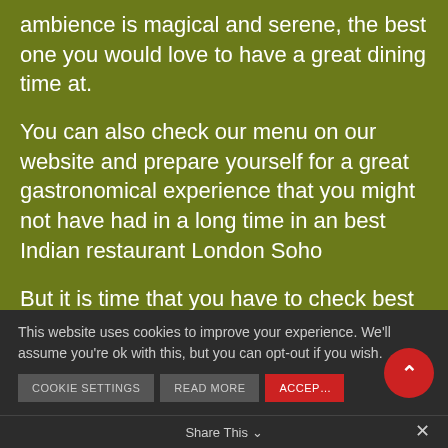ambience is magical and serene, the best one you would love to have a great dining time at.
You can also check our menu on our website and prepare yourself for a great gastronomical experience that you might not have had in a long time in an best Indian restaurant London Soho
But it is time that you have to check best
This website uses cookies to improve your experience. We'll assume you're ok with this, but you can opt-out if you wish.
Share This